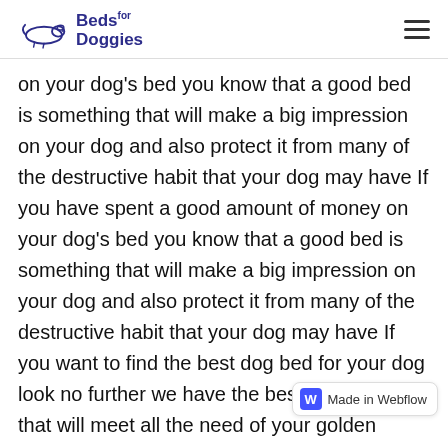Beds for Doggies
on your dog's bed you know that a good bed is something that will make a big impression on your dog and also protect it from many of the destructive habit that your dog may have If you have spent a good amount of money on your dog's bed you know that a good bed is something that will make a big impression on your dog and also protect it from many of the destructive habit that your dog may have If you want to find the best dog bed for your dog look no further we have the best bed for dog that will meet all the need of your golden retriever have a good bed and your golden will be a cozy and comfortable a can be with a good bed We have a different type of bed to cater for different age of golden retriever puppy and even full-grown dog If you still cannot decide wha